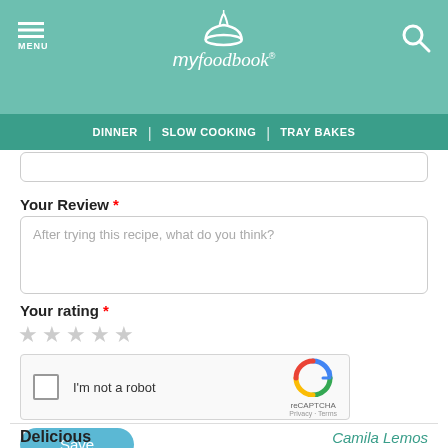[Figure (screenshot): myfoodbook website header with teal background, bowl logo, MENU hamburger icon, and search icon]
DINNER | SLOW COOKING | TRAY BAKES
Your Review *
After trying this recipe, what do you think?
Your rating *
★★★★★ (empty stars)
[Figure (screenshot): reCAPTCHA widget with checkbox, I'm not a robot label, and Google reCAPTCHA logo]
Save
Delicious
Camila Lemos